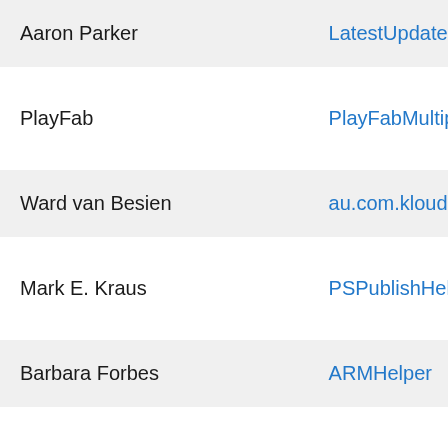| Name | Link |
| --- | --- |
| Aaron Parker | LatestUpdate… |
| PlayFab | PlayFabMultip… |
| Ward van Besien | au.com.kloud.… |
| Mark E. Kraus | PSPublishHel… |
| Barbara Forbes | ARMHelper |
| Donald Mellenbruch | AnyBox |